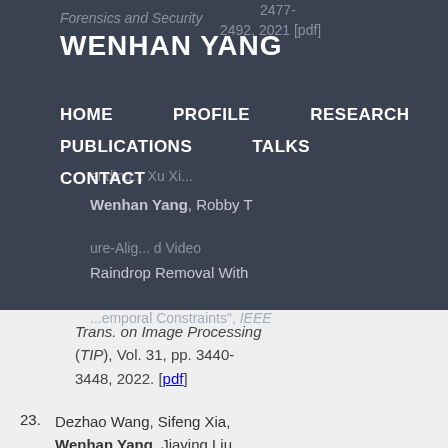WENHAN YANG
HOME   PROFILE   RESEARCH   PUBLICATIONS   TALKS   CONTACT
Forensics and Security, 2477-2492, 2021 [pdf]
Wenhan Yang, Robby T ... Feature-Aligned Video Raindrop Removal With ... Temporal Constraints". IEEE Trans. on Image Processing (TIP), Vol. 31, pp. 3440-3448, 2022. [pdf]
23. Dezhao Wang, Sifeng Xia, Wenhan Yang, Jiaying Liu. "Combining Progressive Rethinking and